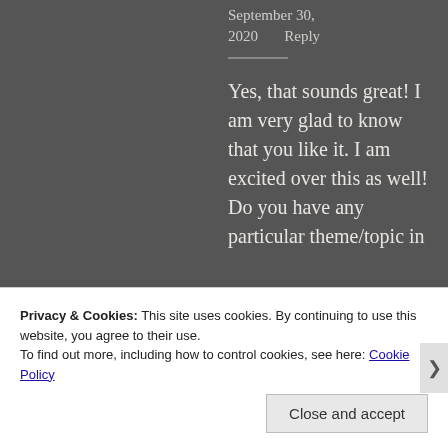September 30, 2020    Reply
Yes, that sounds great! I am very glad to know that you like it. I am excited over this as well! Do you have any particular theme/topic in
Privacy & Cookies: This site uses cookies. By continuing to use this website, you agree to their use.
To find out more, including how to control cookies, see here: Cookie Policy
Close and accept